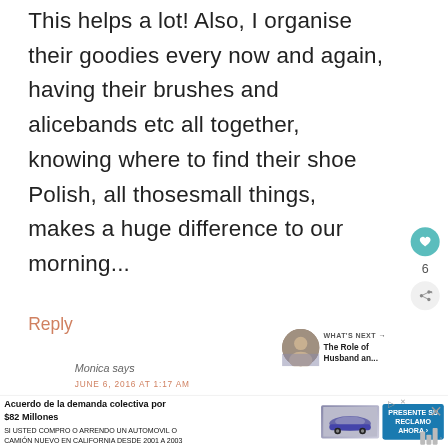This helps a lot! Also, I organise their goodies every now and again, having their brushes and alicebands etc all together, knowing where to find their shoe Polish, all thosesmall things, makes a huge difference to our morning...
Reply
[Figure (infographic): Heart/like button (teal circle with heart icon) with count of 6, and share button below]
[Figure (infographic): What's Next widget with circular photo thumbnail and text: 'WHAT'S NEXT → The Role of Husband an...']
Monica says
JUNE 6, 2016 AT 1:17 AM
[Figure (infographic): Advertisement banner: 'Acuerdo de la demanda colectiva por $82 Millones SI USTED COMPRO O ARRENDO UN AUTOMOVIL O CAMION NUEVO EN CALIFORNIA DESDE 2001 A 2003' with car image and 'PRESENTE SU RECLAMO AHORA' button]